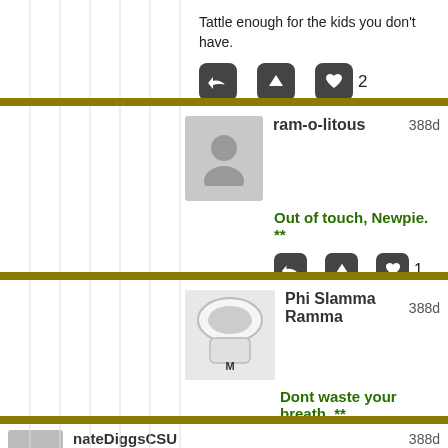Tattle enough for the kids you don't have.
ram-o-litous  388d
Out of touch, Newpie. **
Phi Slamma Ramma  388d
Dont waste your breath. **
nateDiggsCSU  388d